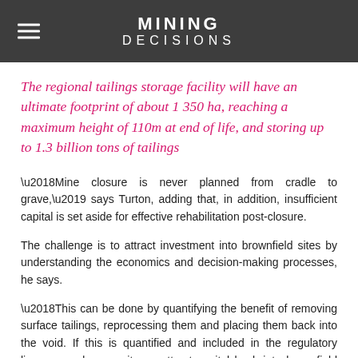MINING DECISIONS
The regional tailings storage facility will have an ultimate footprint of about 1 350 ha, reaching a maximum height of 110m at end of life, and storing up to 1.3 billion tons of tailings
‘Mine closure is never planned from cradle to grave,’ says Turton, adding that, in addition, insufficient capital is set aside for effective rehabilitation post-closure.
The challenge is to attract investment into brownfield sites by understanding the economics and decision-making processes, he says.
‘This can be done by quantifying the benefit of removing surface tailings, reprocessing them and placing them back into the void. If this is quantified and included in the regulatory licences and so on, it can attract capital back into brownfield sites to the overall benefit